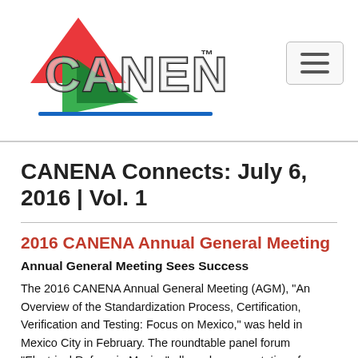CANENA logo and navigation
CANENA Connects: July 6, 2016 | Vol. 1
2016 CANENA Annual General Meeting
Annual General Meeting Sees Success
The 2016 CANENA Annual General Meeting (AGM), “An Overview of the Standardization Process, Certification, Verification and Testing: Focus on Mexico,” was held in Mexico City in February. The roundtable panel forum “Electrical Reform in Mexico” allowed representatives from key institutions and other attendees to share, learn, and discuss the expectations arising from opening up the power generation market in Mexico to new providers. Building on the